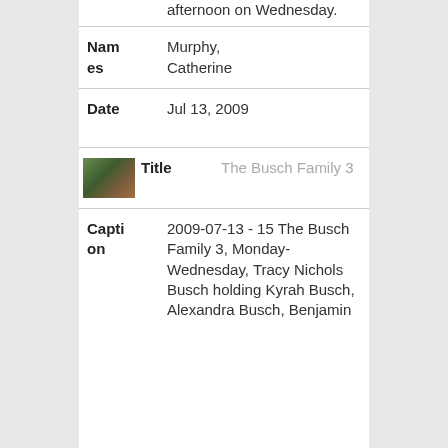afternoon on Wednesday.
| Names | Murphy, Catherine |
| Date | Jul 13, 2009 |
[Figure (photo): Small thumbnail photo of people, associated with The Busch Family 3 record]
| Title | The Busch Family 3 |
| Caption | 2009-07-13 - 15 The Busch Family 3, Monday-Wednesday, Tracy Nichols Busch holding Kyrah Busch, Alexandra Busch, Benjamin |